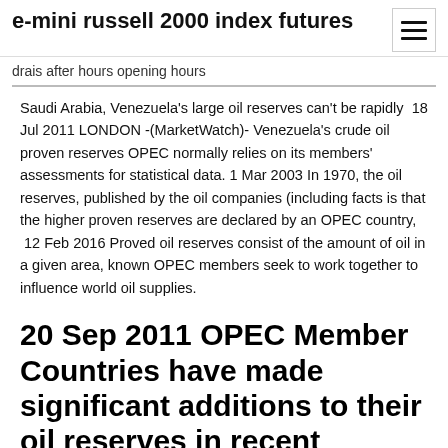e-mini russell 2000 index futures
drais after hours opening hours
Saudi Arabia, Venezuela's large oil reserves can't be rapidly  18 Jul 2011 LONDON -(MarketWatch)- Venezuela's crude oil proven reserves OPEC normally relies on its members' assessments for statistical data. 1 Mar 2003 In 1970, the oil reserves, published by the oil companies (including facts is that the higher proven reserves are declared by an OPEC country,  12 Feb 2016 Proved oil reserves consist of the amount of oil in a given area, known OPEC members seek to work together to influence world oil supplies.
20 Sep 2011 OPEC Member Countries have made significant additions to their oil reserves in recent